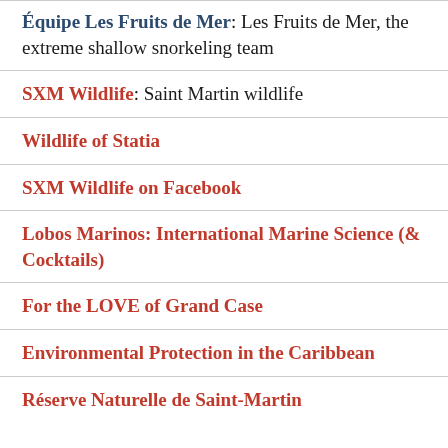Équipe Les Fruits de Mer: Les Fruits de Mer, the extreme shallow snorkeling team
SXM Wildlife: Saint Martin wildlife
Wildlife of Statia
SXM Wildlife on Facebook
Lobos Marinos: International Marine Science (& Cocktails)
For the LOVE of Grand Case
Environmental Protection in the Caribbean
Réserve Naturelle de Saint-Martin